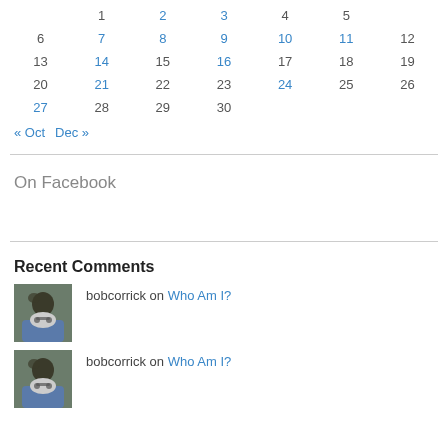| Sun | Mon | Tue | Wed | Thu | Fri | Sat |
| --- | --- | --- | --- | --- | --- | --- |
|  | 1 | 2 | 3 | 4 | 5 |  |
| 6 | 7 | 8 | 9 | 10 | 11 | 12 |
| 13 | 14 | 15 | 16 | 17 | 18 | 19 |
| 20 | 21 | 22 | 23 | 24 | 25 | 26 |
| 27 | 28 | 29 | 30 |  |  |  |
« Oct   Dec »
On Facebook
Recent Comments
bobcorrick on Who Am I?
bobcorrick on Who Am I?